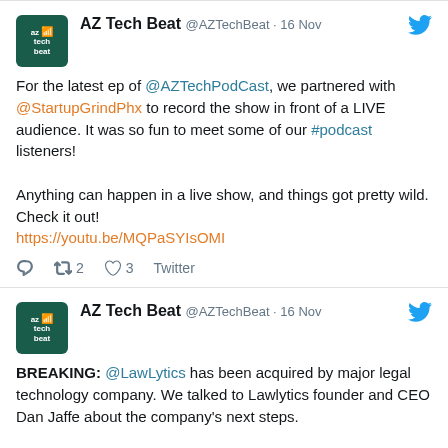[Figure (screenshot): Tweet from AZ Tech Beat (@AZTechBeat) dated 16 Nov about recording a live podcast episode with @AZTechPodCast and @StartupGrindPhx, including a YouTube link and engagement stats (2 retweets, 3 likes).]
[Figure (screenshot): Tweet from AZ Tech Beat (@AZTechBeat) dated 16 Nov announcing BREAKING news that @LawLytics has been acquired by a major legal technology company, with a mention of talking to founder and CEO Dan Jaffe. Text cut off at 'Read more:']